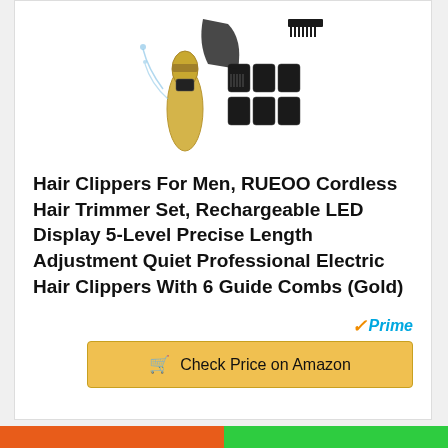[Figure (photo): Product photo of RUEOO gold hair clipper with guide combs, shown with water splash and accessories including 6 guide combs, a cape, and a comb.]
Hair Clippers For Men, RUEOO Cordless Hair Trimmer Set, Rechargeable LED Display 5-Level Precise Length Adjustment Quiet Professional Electric Hair Clippers With 6 Guide Combs (Gold)
[Figure (logo): Amazon Prime logo with checkmark and italic Prime text in blue]
Check Price on Amazon